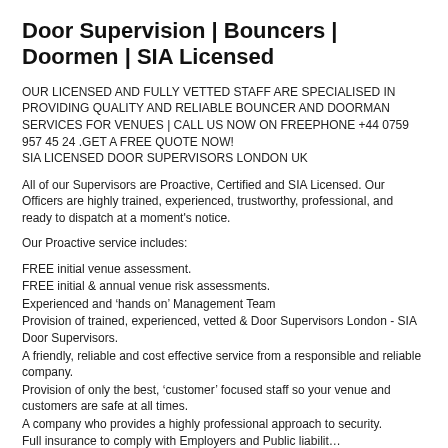Door Supervision | Bouncers | Doormen | SIA Licensed
OUR LICENSED AND FULLY VETTED STAFF ARE SPECIALISED IN PROVIDING QUALITY AND RELIABLE BOUNCER AND DOORMAN SERVICES FOR VENUES | CALL US NOW ON FREEPHONE +44 0759 957 45 24 .GET A FREE QUOTE NOW!
SIA LICENSED DOOR SUPERVISORS LONDON UK
All of our Supervisors are Proactive, Certified and SIA Licensed. Our Officers are highly trained, experienced, trustworthy, professional, and ready to dispatch at a moment's notice.
Our Proactive service includes:
FREE initial venue assessment.
FREE initial & annual venue risk assessments.
Experienced and 'hands on' Management Team
Provision of trained, experienced, vetted & Door Supervisors London - SIA Door Supervisors.
A friendly, reliable and cost effective service from a responsible and reliable company.
Provision of only the best, 'customer' focused staff so your venue and customers are safe at all times.
A company who provides a highly professional approach to security.
Full insurance to comply with Employers and Public liability...